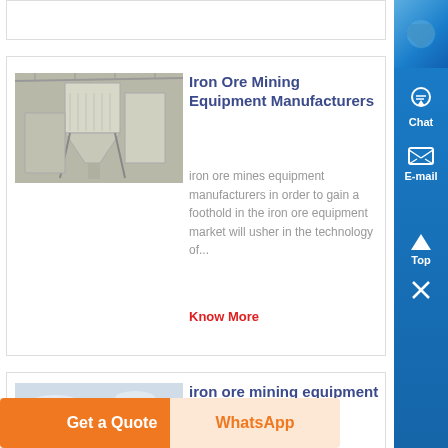[Figure (photo): Industrial mining/dust collection equipment inside a facility]
Iron Ore Mining Equipment Manufacturers
iron ore mines equipment manufacturers in order to gain a foothold in the iron ore equipment market will usher in the technology of...
Know More
[Figure (photo): Open landscape with mining infrastructure and equipment in the background]
iron ore mining equipment list
iron ore mining equipment